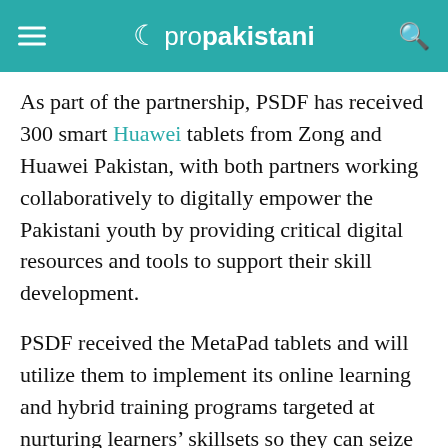propakistani
As part of the partnership, PSDF has received 300 smart Huawei tablets from Zong and Huawei Pakistan, with both partners working collaboratively to digitally empower the Pakistani youth by providing critical digital resources and tools to support their skill development.
PSDF received the MetaPad tablets and will utilize them to implement its online learning and hybrid training programs targeted at nurturing learners’ skillsets so they can seize employment and income-generating opportunities.
As part of its digital training program ‘e-tayyar’,